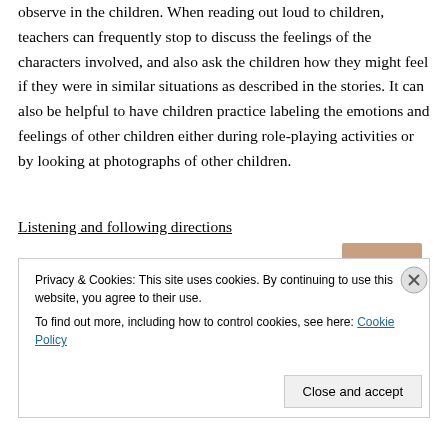observe in the children. When reading out loud to children, teachers can frequently stop to discuss the feelings of the characters involved, and also ask the children how they might feel if they were in similar situations as described in the stories. It can also be helpful to have children practice labeling the emotions and feelings of other children either during role-playing activities or by looking at photographs of other children.
Listening and following directions
Privacy & Cookies: This site uses cookies. By continuing to use this website, you agree to their use.
To find out more, including how to control cookies, see here: Cookie Policy